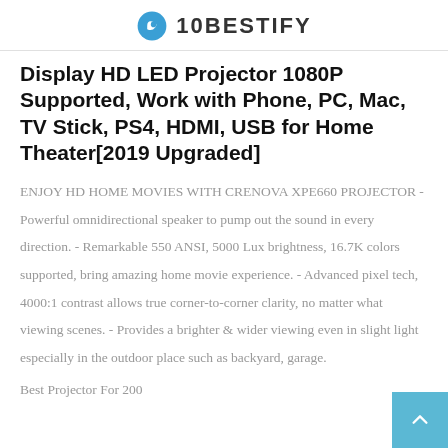10BESTIFY
Display HD LED Projector 1080P Supported, Work with Phone, PC, Mac, TV Stick, PS4, HDMI, USB for Home Theater[2019 Upgraded]
ENJOY HD HOME MOVIES WITH CRENOVA XPE660 PROJECTOR - Powerful omnidirectional speaker to pump out the sound in every direction. - Remarkable 550 ANSI, 5000 Lux brightness, 16.7K colors supported, bring amazing home movie experience. - Advanced pixel tech, 4000:1 contrast allows true corner-to-corner clarity, no matter what viewing scenes. - Provides a brighter & wider viewing even in slight light especially in the outdoor place such as backyard, garage.
Best Projector For 200